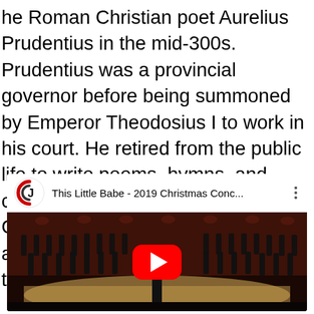he Roman Christian poet Aurelius Prudentius in the mid-300s. Prudentius was a provincial governor before being summoned by Emperor Theodosius I to work in his court. He retired from the public life to write poems, hymns, and controversial works in defense of Christianity. This poem is based on a passage from the Book of John in the New Testament.
[Figure (screenshot): YouTube video embed showing 'This Little Babe - 2019 Christmas Conc...' with a choir performing on stage, YouTube play button overlay, and channel logo (CJ in circular logo).]